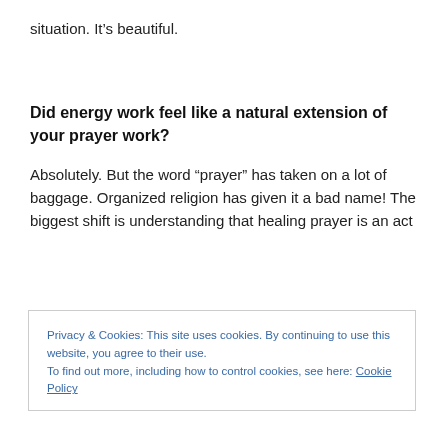situation. It’s beautiful.
Did energy work feel like a natural extension of your prayer work?
Absolutely. But the word “prayer” has taken on a lot of baggage. Organized religion has given it a bad name! The biggest shift is understanding that healing prayer is an act
Privacy & Cookies: This site uses cookies. By continuing to use this website, you agree to their use.
To find out more, including how to control cookies, see here: Cookie Policy